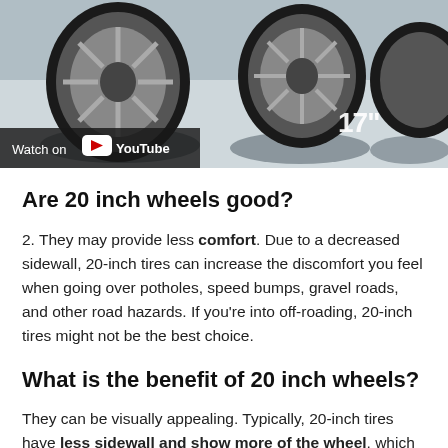[Figure (photo): Photo of car wheels/tires on pavement with '17"' text visible, with a YouTube overlay button at bottom left.]
Are 20 inch wheels good?
2. They may provide less comfort. Due to a decreased sidewall, 20-inch tires can increase the discomfort you feel when going over potholes, speed bumps, gravel roads, and other road hazards. If you're into off-roading, 20-inch tires might not be the best choice.
What is the benefit of 20 inch wheels?
They can be visually appealing. Typically, 20-inch tires have less sidewall and show more of the wheel, which some drivers find to be more aesthetically pleasing, by giving the